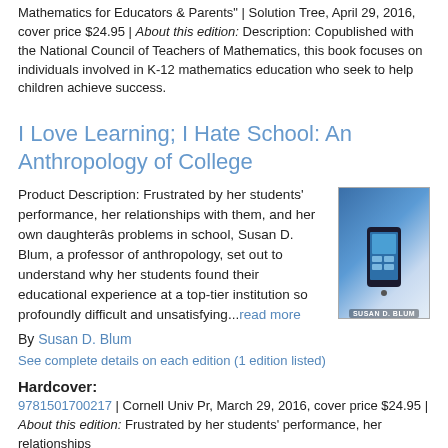Mathematics for Educators & Parents" | Solution Tree, April 29, 2016, cover price $24.95 | About this edition: Description: Copublished with the National Council of Teachers of Mathematics, this book focuses on individuals involved in K-12 mathematics education who seek to help children achieve success.
I Love Learning; I Hate School: An Anthropology of College
Product Description: Frustrated by her students' performance, her relationships with them, and her own daughterâs problems in school, Susan D. Blum, a professor of anthropology, set out to understand why her students found their educational experience at a top-tier institution so profoundly difficult and unsatisfying...read more
By Susan D. Blum
See complete details on each edition (1 edition listed)
Hardcover:
9781501700217 | Cornell Univ Pr, March 29, 2016, cover price $24.95 | About this edition: Frustrated by her students' performance, her relationships